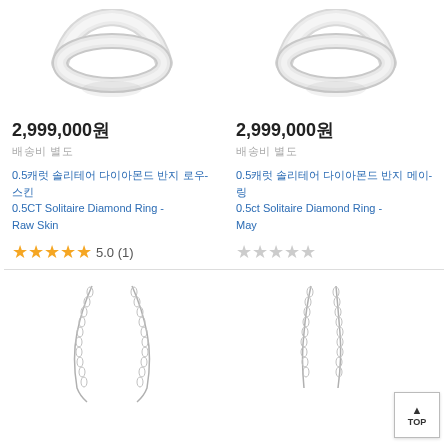[Figure (photo): Silver ring product image, top-left]
[Figure (photo): Silver ring product image, top-right]
2,999,000원
배송비 별도
2,999,000원
배송비 별도
0.5캐럿 솔리테어 다이아몬드 반지 로우-스킨
0.5CT Solitaire Diamond Ring - Raw Skin
0.5캐럿 솔리테어 다이아몬드 반지 메이-링
0.5ct Solitaire Diamond Ring - May
★★★★★ 5.0 (1)
★★★★★
[Figure (photo): Silver necklace product image, bottom-left]
[Figure (photo): Silver necklace product image, bottom-right]